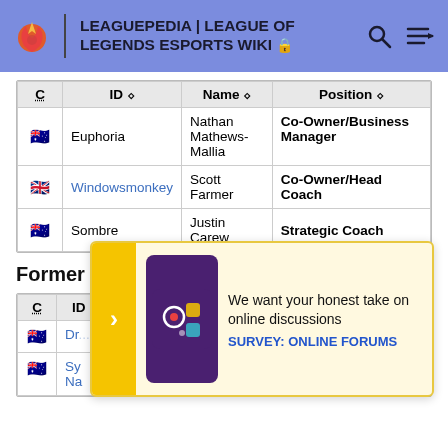LEAGUEPEDIA | LEAGUE OF LEGENDS ESPORTS WIKI
| C | ID | Name | Position |
| --- | --- | --- | --- |
| 🇦🇺 | Euphoria | Nathan Mathews-Mallia | Co-Owner/Business Manager |
| 🇬🇧 | Windowsmonkey | Scott Farmer | Co-Owner/Head Coach |
| 🇦🇺 | Sombre | Justin Carew | Strategic Coach |
Former
| C | ID | Name | Position | Next Team |
| --- | --- | --- | --- | --- |
| 🇦🇺 | Dr... | ... | ... | ... |
| 🇦🇺 | Sy... Na... |  |  |  |
[Figure (screenshot): Survey popup overlay: 'We want your honest take on online discussions' with link 'SURVEY: ONLINE FORUMS']